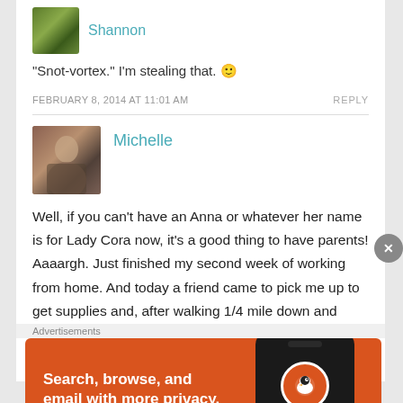Shannon
"Snot-vortex." I'm stealing that. 🙂
FEBRUARY 8, 2014 AT 11:01 AM
REPLY
Michelle
Well, if you can't have an Anna or whatever her name is for Lady Cora now, it's a good thing to have parents! Aaaargh. Just finished my second week of working from home. And today a friend came to pick me up to get supplies and, after walking 1/4 mile down and wading through our creek, I had to push her car out of the very
Advertisements
[Figure (screenshot): DuckDuckGo advertisement banner: orange background with text 'Search, browse, and email with more privacy. All in One Free App' and a phone mockup with DuckDuckGo logo]